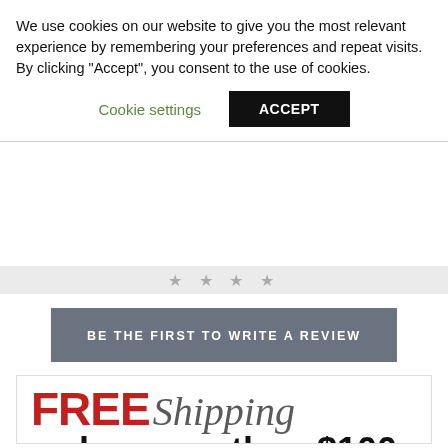We use cookies on our website to give you the most relevant experience by remembering your preferences and repeat visits. By clicking “Accept”, you consent to the use of cookies.
Cookie settings | ACCEPT
[Figure (other): Star rating icons row (faded/gray stars visible partially)]
BE THE FIRST TO WRITE A REVIEW
[Figure (infographic): FREE Shipping promotional banner: FREE in bold red, Shipping in gray script, 'order more than $100' in large bold black text, 'and get free ground shipping in the continental U.S.' in smaller text below]